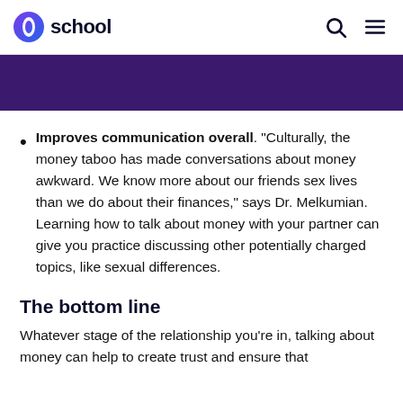school
Improves communication overall. "Culturally, the money taboo has made conversations about money awkward. We know more about our friends sex lives than we do about their finances," says Dr. Melkumian. Learning how to talk about money with your partner can give you practice discussing other potentially charged topics, like sexual differences.
The bottom line
Whatever stage of the relationship you’re in, talking about money can help to create trust and ensure that